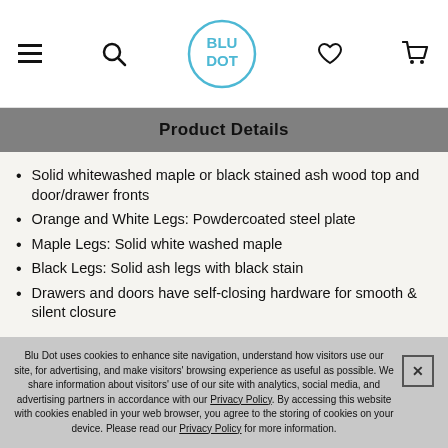Blu Dot navigation header with menu, search, logo, wishlist, and cart icons
Product Details
Solid whitewashed maple or black stained ash wood top and door/drawer fronts
Orange and White Legs: Powdercoated steel plate
Maple Legs: Solid white washed maple
Black Legs: Solid ash legs with black stain
Drawers and doors have self-closing hardware for smooth & silent closure
Blu Dot uses cookies to enhance site navigation, understand how visitors use our site, for advertising, and make visitors' browsing experience as useful as possible. We share information about visitors' use of our site with analytics, social media, and advertising partners in accordance with our Privacy Policy. By accessing this website with cookies enabled in your web browser, you agree to the storing of cookies on your device. Please read our Privacy Policy for more information.